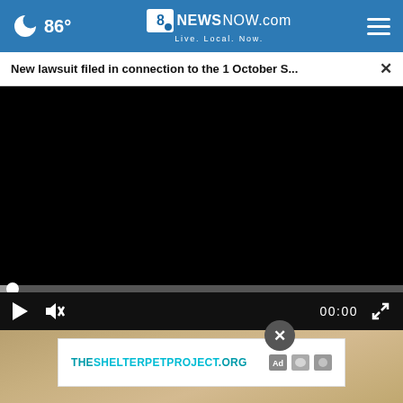86° 8NewsNow.com Live. Local. Now.
New lawsuit filed in connection to the 1 October S...
[Figure (screenshot): Video player showing a black screen (not playing), with a white progress bar dot at the left, playback controls at the bottom including play button, mute button, 00:00 timestamp, and fullscreen expand icon on a dark control bar.]
[Figure (photo): Below the video player, a photo showing a cat near a glass, partially visible. An advertisement overlay reads THESHELTERPETPROJECT.ORG with ad logos. A close (X) button appears above the ad.]